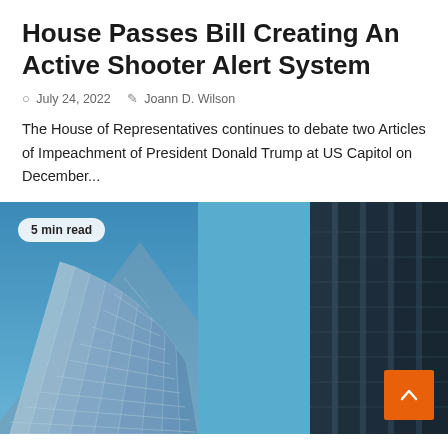House Passes Bill Creating An Active Shooter Alert System
July 24, 2022   Joann D. Wilson
The House of Representatives continues to debate two Articles of Impeachment of President Donald Trump at US Capitol on December...
[Figure (photo): Low-angle photograph of two glass skyscrapers against a blue sky, with a '5 min read' badge overlay and an orange scroll-to-top button in the lower right corner.]